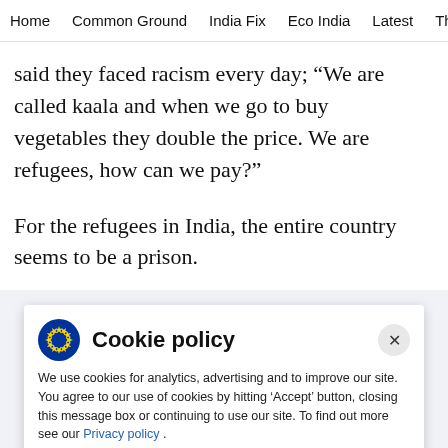Home  Common Ground  India Fix  Eco India  Latest  Th
said they faced racism every day; “We are called kaala and when we go to buy vegetables they double the price. We are refugees, how can we pay?”
For the refugees in India, the entire country seems to be a prison.
Cookie policy
We use cookies for analytics, advertising and to improve our site. You agree to our use of cookies by hitting ‘Accept’ button, closing this message box or continuing to use our site. To find out more see our Privacy policy .
Accept